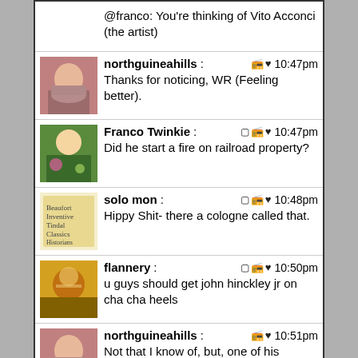@franco: You're thinking of Vito Acconci (the artist)
northguineahills: Thanks for noticing, WR (Feeling better). 10:47pm
Franco Twinkie: Did he start a fire on railroad property? 10:47pm
solo mon: Hippy Shit- there a cologne called that. 10:48pm
flannery: u guys should get john hinckley jr on cha cha heels 10:50pm
northguineahills: Not that I know of, but, one of his installations was deemed offensive and set on fire in Middlebury... 10:51pm
WR: solo @10:45 0L0 10:51pm
coelacanthØ: fuckyou fuckyou fuckyou fuckyou fuckyou ... this sounds like me when i'm on the phone with 10:51pm